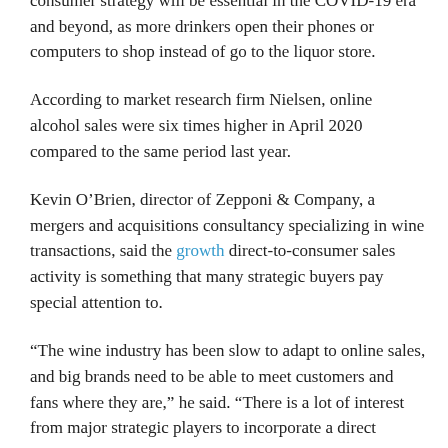For big players like Constellation, a strong direct-to-consumer strategy will be essential in the COVID-19 era and beyond, as more drinkers open their phones or computers to shop instead of go to the liquor store.
According to market research firm Nielsen, online alcohol sales were six times higher in April 2020 compared to the same period last year.
Kevin O'Brien, director of Zepponi & Company, a mergers and acquisitions consultancy specializing in wine transactions, said the growth direct-to-consumer sales activity is something that many strategic buyers pay special attention to.
“The wine industry has been slow to adapt to online sales, and big brands need to be able to meet customers and fans where they are,” he said. “There is a lot of interest from major strategic players to incorporate a direct